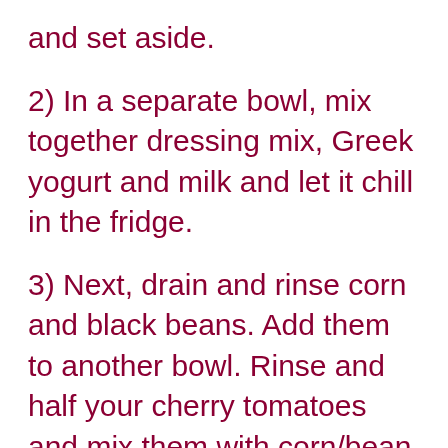and set aside.
2) In a separate bowl, mix together dressing mix, Greek yogurt and milk and let it chill in the fridge.
3) Next, drain and rinse corn and black beans. Add them to another bowl. Rinse and half your cherry tomatoes and mix them with corn/bean mixture. Lastly,  dice avocado and fold into salad.
4) Assemble your bowls by adding